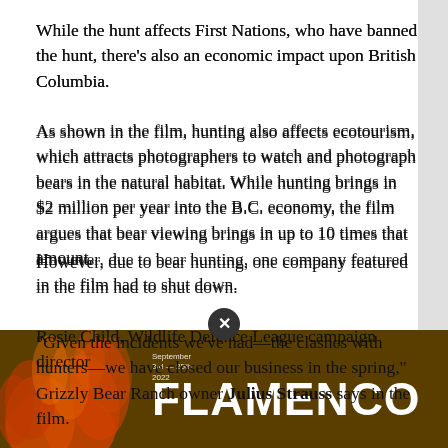While the hunt affects First Nations, who have banned the hunt, there's also an economic impact upon British Columbia.
As shown in the film, hunting also affects ecotourism, which attracts photographers to watch and photograph bears in the natural habitat. While hunting brings in $2 million per year into the B.C. economy, the film argues that bear viewing brings in up to 10 times that amount.
However, due to bear hunting, one company featured in the film had to shut down.
"Given the incidents we've had—the clashes with hunters—we have closed our business in the spring," Grizzly Bear Ranch owner Julius Strauss says in the film.
Rosie Child, Wildlife Defence League campaign director
[Figure (photo): Advertisement banner for Flamenco event, September 3rd-25th 2022, with fire/flame background and large white text reading FLAMENCO on dark golden-brown background.]